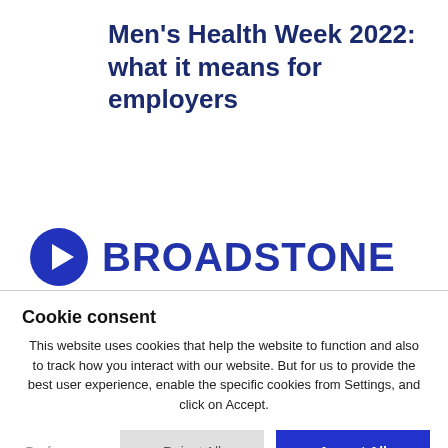Men's Health Week 2022: what it means for employers
[Figure (logo): Broadstone logo: blue circle with white right-pointing triangle/play button icon, followed by the word BROADSTONE in bold dark blue uppercase letters]
Cookie consent
This website uses cookies that help the website to function and also to track how you interact with our website. But for us to provide the best user experience, enable the specific cookies from Settings, and click on Accept.
Preferences  Reject All  Accept All